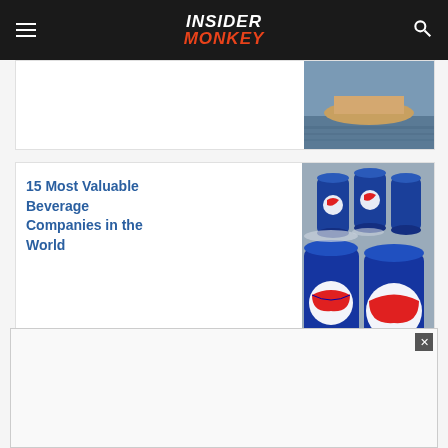INSIDER MONKEY
[Figure (photo): Partial view of a boat/watercraft image from previous article card]
15 Most Valuable Beverage Companies in the World
[Figure (photo): Multiple blue Pepsi cans arranged together]
Dow 30 Stocks Listed and Ranked By 2022 Hedge
[Figure (photo): Smartphone showing stock market data/charts on a desk]
[Figure (other): Advertisement overlay at bottom of page with close button]